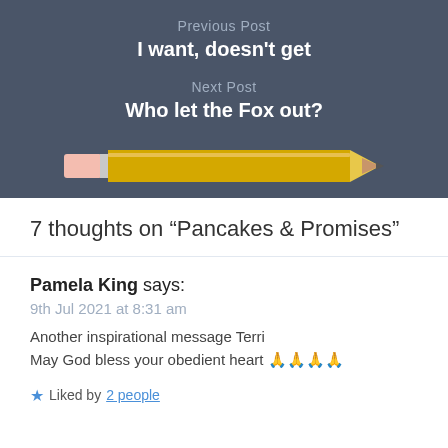Previous Post
I want, doesn't get
Next Post
Who let the Fox out?
[Figure (illustration): A yellow pencil illustration spanning horizontally]
7 thoughts on “Pancakes & Promises”
Pamela King says:
9th Jul 2021 at 8:31 am
Another inspirational message Terri
May God bless your obedient heart 🙏🙏🙏🙏
★ Liked by 2 people